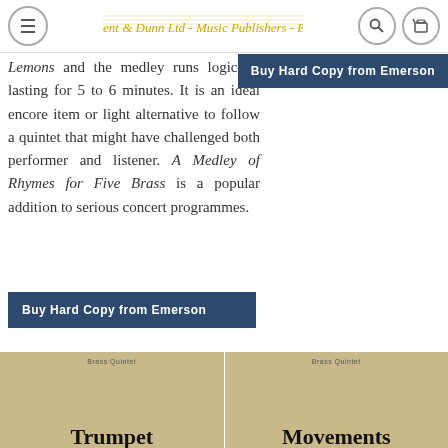Broadbent & Dunn Ltd - Music Publishers - England
Lemons and the medley runs logically lasting for 5 to 6 minutes. It is an ideal encore item or light alternative to follow a quintet that might have challenged both performer and listener. A Medley of Rhymes for Five Brass is a popular addition to serious concert programmes.
Buy Hard Copy from Emerson
Buy Hard Copy from Emerson
[Figure (other): Product card with tan/parchment background showing 'Trumpet' book cover for Brass Quintet]
[Figure (other): Product card with tan/parchment background showing 'Movements' book cover for Brass Quintet]